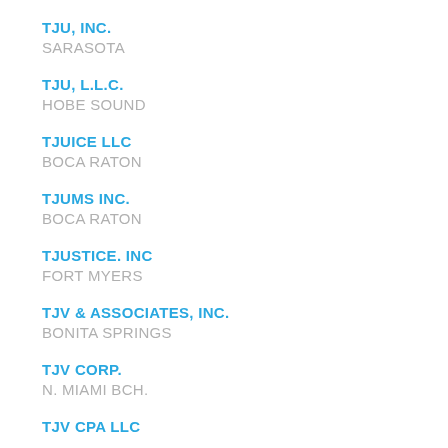TJU, INC.
SARASOTA
TJU, L.L.C.
HOBE SOUND
TJUICE LLC
BOCA RATON
TJUMS INC.
BOCA RATON
TJUSTICE. INC
FORT MYERS
TJV & ASSOCIATES, INC.
BONITA SPRINGS
TJV CORP.
N. MIAMI BCH.
TJV CPA LLC